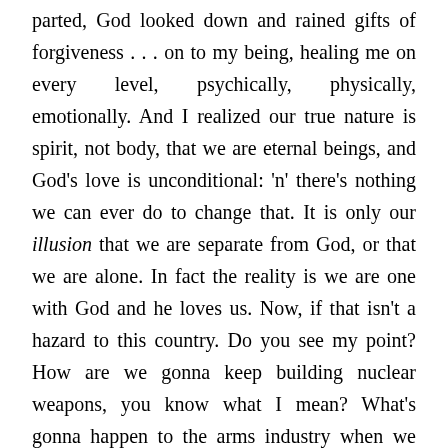parted, God looked down and rained gifts of forgiveness . . . on to my being, healing me on every level, psychically, physically, emotionally. And I realized our true nature is spirit, not body, that we are eternal beings, and God's love is unconditional: 'n' there's nothing we can ever do to change that. It is only our illusion that we are separate from God, or that we are alone. In fact the reality is we are one with God and he loves us. Now, if that isn't a hazard to this country. Do you see my point? How are we gonna keep building nuclear weapons, you know what I mean? What's gonna happen to the arms industry when we realize we're all one. Ha ha ha ha ha! It's gonna fuck up the economy! The economy that's fake anyway! Ha ha ha! Which would be a real bummer. You know. You can